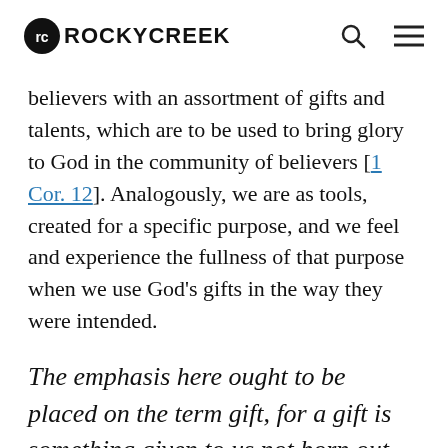ROCKYCREEK
believers with an assortment of gifts and talents, which are to be used to bring glory to God in the community of believers [1 Cor. 12]. Analogously, we are as tools, created for a specific purpose, and we feel and experience the fullness of that purpose when we use God’s gifts in the way they were intended.
The emphasis here ought to be placed on the term gift, for a gift is something given to us not born out